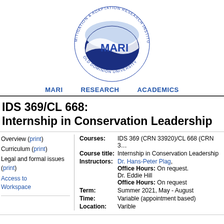[Figure (logo): MARI – Mitigation & Adaptation Research Institute, Old Dominion University circular logo with blue globe shape and MARI text]
MARI   RESEARCH   ACADEMICS
IDS 369/CL 668:
Internship in Conservation Leadership
Overview (print)
Curriculum (print)
Legal and formal issues (print)
Access to Workspace
| Field | Value |
| --- | --- |
| Courses: | IDS 369 (CRN 33920)/CL 668 (CRN 3… |
| Course title: | Internship in Conservation Leadership |
| Instructors: | Dr. Hans-Peter Plag,
Office Hours: On request.
Dr. Eddie Hill
Office Hours: On request |
| Term: | Summer 2021, May - August |
| Time: | Variable (appointment based) |
| Location: | Varible |